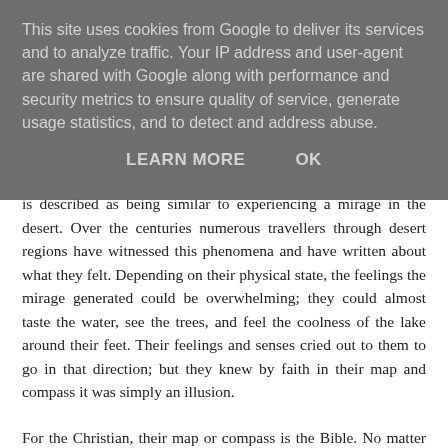This site uses cookies from Google to deliver its services and to analyze traffic. Your IP address and user-agent are shared with Google along with performance and security metrics to ensure quality of service, generate usage statistics, and to detect and address abuse.
LEARN MORE   OK
is described as being similar to experiencing a mirage in the desert. Over the centuries numerous travellers through desert regions have witnessed this phenomena and have written about what they felt. Depending on their physical state, the feelings the mirage generated could be overwhelming; they could almost taste the water, see the trees, and feel the coolness of the lake around their feet. Their feelings and senses cried out to them to go in that direction; but they knew by faith in their map and compass it was simply an illusion.
For the Christian, their map or compass is the Bible. No matter what they may be tempted to feel to the contrary, they have the sure Word of God to rely on and if they remain faithful as Karl did, thon in timo thoso false foolings will pass